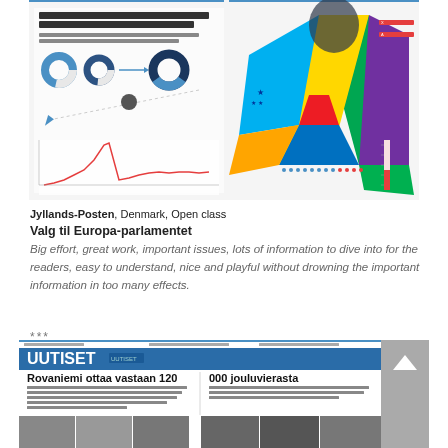[Figure (infographic): Jyllands-Posten infographic about EU elections in Denmark titled 'Kan stridigheder vælte det europæiske korthus i Danmark?' featuring colorful geometric shapes, charts, and data visualizations]
Jyllands-Posten, Denmark, Open class
Valg til Europa-parlamentet
Big effort, great work, important issues, lots of information to dive into for the readers, easy to understand, nice and playful without drowning the important information in too many effects.
***
[Figure (screenshot): Finnish newspaper Uutiset front page with headline 'Rovaniemi ottaa vastaan 120 000 jouluvierasta' and photos of people]